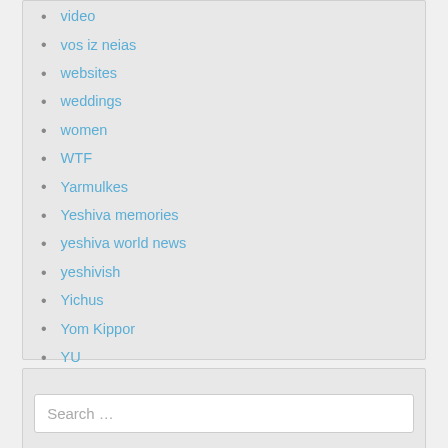video
vos iz neias
websites
weddings
women
WTF
Yarmulkes
Yeshiva memories
yeshiva world news
yeshivish
Yichus
Yom Kippor
YU